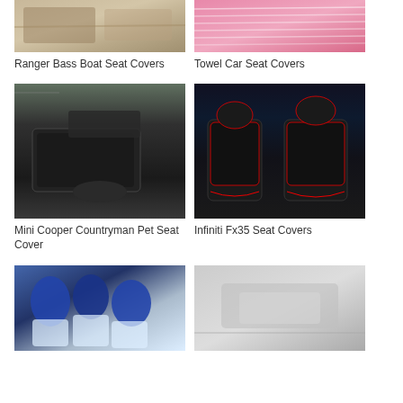[Figure (photo): Ranger Bass Boat Seat Covers - top portion of boat interior image]
[Figure (photo): Towel Car Seat Covers - pink/striped towel seat cover]
Ranger Bass Boat Seat Covers
Towel Car Seat Covers
[Figure (photo): Mini Cooper Countryman Pet Seat Cover - black pet seat cover in rear of car]
[Figure (photo): Infiniti Fx35 Seat Covers - black leather with red trim seat covers]
Mini Cooper Countryman Pet Seat Cover
Infiniti Fx35 Seat Covers
[Figure (photo): Boat seat covers - blue and white boat seats]
[Figure (photo): Car seat covers - light colored car interior]